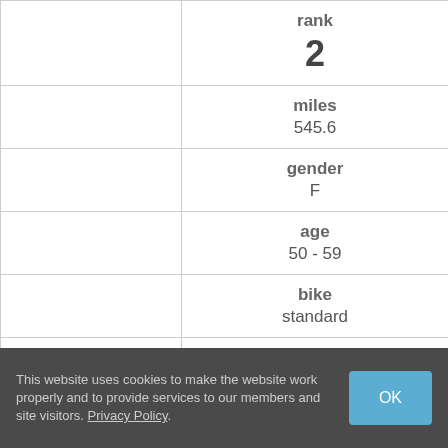|  | rank | miles | gender | age | bike | events (miles) |
| --- | --- | --- | --- | --- | --- | --- |
|  | 2 |
|  | 545.6 |
|  | F |
|  | 50 - 59 |
|  | standard |
|  | National 24-Hour Challenge (290.2)
Ultra Midwest 24-Hour (255.4) |
This website uses cookies to make the website work properly and to provide services to our members and site visitors. Privacy Policy.